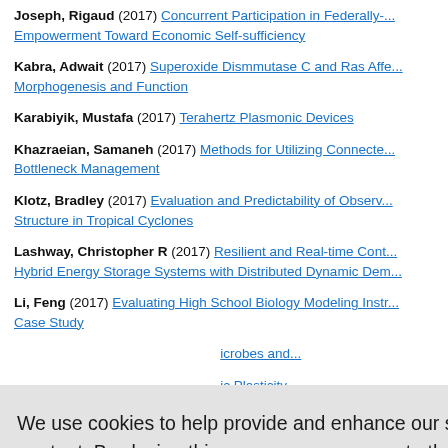Joseph, Rigaud (2017) Concurrent Participation in Federally-... Empowerment Toward Economic Self-sufficiency
Kabra, Adwait (2017) Superoxide Dismmutase C and Ras Affe... Morphogenesis and Function
Karabiyik, Mustafa (2017) Terahertz Plasmonic Devices
Khazraeian, Samaneh (2017) Methods for Utilizing Connecte... Bottleneck Management
Klotz, Bradley (2017) Evaluation and Predictability of Observ... Structure in Tropical Cyclones
Lashway, Christopher R (2017) Resilient and Real-time Cont... Hybrid Energy Storage Systems with Distributed Dynamic Dem...
Li, Feng (2017) Evaluating High School Biology Modeling Instr... Case Study
... icrobes and ...
... ic Plasticity...
... obumeran...
... Between Ra...
Monongodo, Archono (2017) The Abovo... F...
We use cookies to help provide and enhance our service and tailor content. By closing this message, you agree to the use of cookies.
Close